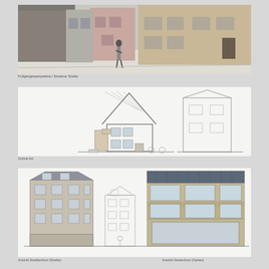[Figure (photo): Street-level perspective photograph of a European urban street with multi-storey buildings on both sides, a person walking in the middle, and building facades showing windows and doors.]
Fußgängerperspektive / Streetcar Straße
[Figure (engineering-diagram): Architectural cross-section and side elevation drawing of a residential building showing a gabled roof structure with rafters, two-storey facade with windows and balcony, and adjacent outbuilding in outline.]
Schnitt AA
[Figure (engineering-diagram): Architectural elevation drawings of building facades: left shows a multi-storey residential building with mansard roof and multiple windows; center shows an adjacent narrower building with triangular pediment; right shows a modern infill building with glazed upper floor balcony and solar-panel roof.]
Ansicht Straßenfront (Straße)
Ansicht Gartenfront (Garten)